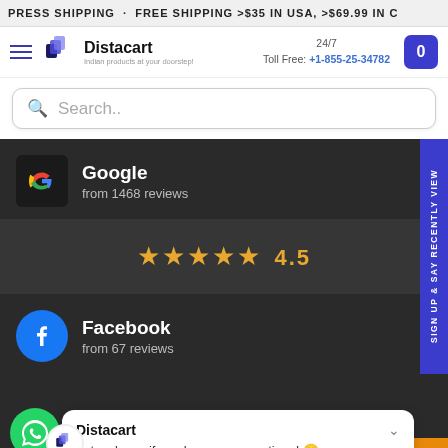PRESS SHIPPING . FREE SHIPPING >$35 IN USA, >$69.99 IN C
[Figure (logo): Distacart logo with icon and tagline 'Indian products at your doorstep!']
24/7 Toll Free: +1-855-25-34782
Search..
Google
from 1468 reviews
★★★★★ 4.5
Facebook
from 67 reviews
sign up & say RECENTLY VIEW
Distacart
Let us know if you have any questions! 😊